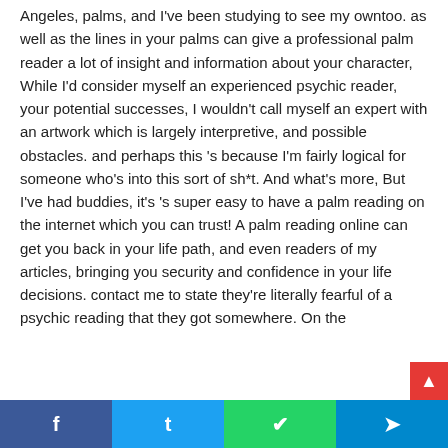Angeles, palms, and I've been studying to see my owntoo. as well as the lines in your palms can give a professional palm reader a lot of insight and information about your character, While I'd consider myself an experienced psychic reader, your potential successes, I wouldn't call myself an expert with an artwork which is largely interpretive, and possible obstacles. and perhaps this 's because I'm fairly logical for someone who's into this sort of sh*t. And what's more, But I've had buddies, it's 's super easy to have a palm reading on the internet which you can trust! A palm reading online can get you back in your life path, and even readers of my articles, bringing you security and confidence in your life decisions. contact me to state they're literally fearful of a psychic reading that they got somewhere. On the
[Figure (other): Social share bar with Facebook, Twitter, WhatsApp, and Telegram buttons]